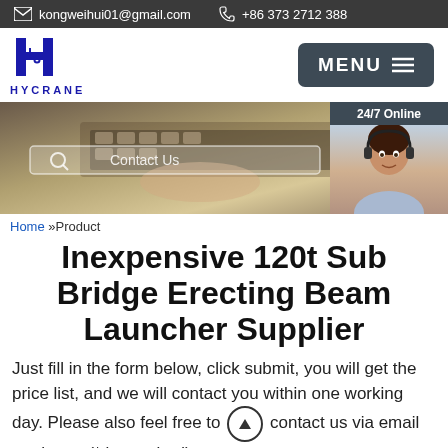kongweihui01@gmail.com   +86 373 2712 388
[Figure (logo): HYCRANE company logo with stylized H and crane symbol in blue]
[Figure (screenshot): Website banner showing hands on laptop keyboard with search/contact bar overlay, and 24/7 Online chat widget with female agent photo]
Home »Product
Inexpensive 120t Sub Bridge Erecting Beam Launcher Supplier
Just fill in the form below, click submit, you will get the price list, and we will contact you within one working day. Please also feel free to contact us via email or phone. (* is required).